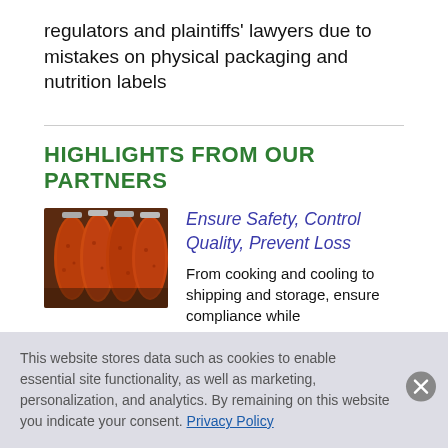regulators and plaintiffs' lawyers due to mistakes on physical packaging and nutrition labels
HIGHLIGHTS FROM OUR PARTNERS
[Figure (photo): Hanging sausages/salami links, reddish-brown, close-up photo]
Ensure Safety, Control Quality, Prevent Loss
From cooking and cooling to shipping and storage, ensure compliance while
This website stores data such as cookies to enable essential site functionality, as well as marketing, personalization, and analytics. By remaining on this website you indicate your consent. Privacy Policy